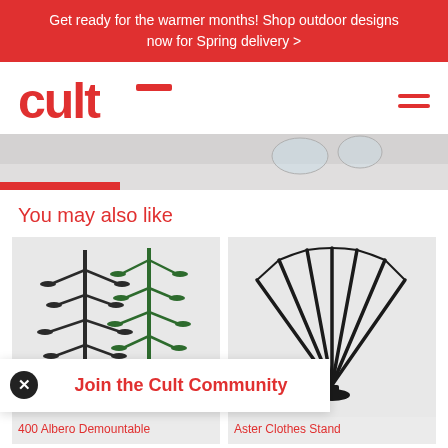Get ready for the warmer months! Shop outdoor designs now for Spring delivery >
[Figure (logo): Cult furniture logo in red, stylized lowercase 'cult' with a T-bar. Hamburger menu icon (three red lines) on the right.]
[Figure (photo): Hero banner image showing outdoor furniture on a snowy white background, cropped. Red progress/indicator bar at the bottom left.]
You may also like
[Figure (photo): Product image of 400 Albero Demountable candelabra/tree-like structure with multiple horizontal branches and round flat platforms, in black and green, on grey background.]
[Figure (photo): Product image of Aster Clothes Stand, a fan of thin black metal rods spread outward from a base, on grey background.]
Join the Cult Community
400 Albero Demountable
Aster Clothes Stand